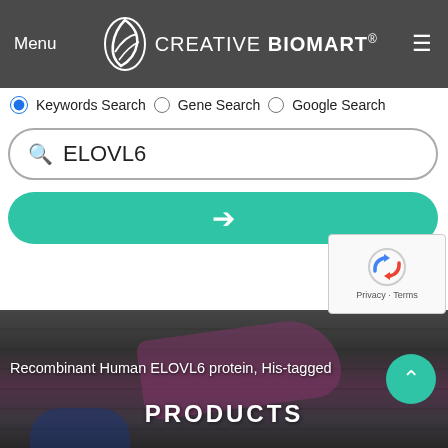Menu  CREATIVE BIOMART®
Keywords Search   Gene Search   Google Search
ELOVL6
[Figure (screenshot): Green search/submit button with right-arrow icon]
[Figure (other): reCAPTCHA widget with logo, Privacy and Terms links]
[Figure (photo): Hero background image: close-up of scientific/biological sample with blue gloves and pink/magenta material on grey textured surface]
Recombinant Human ELOVL6 protein, His-tagged
PRODUCTS